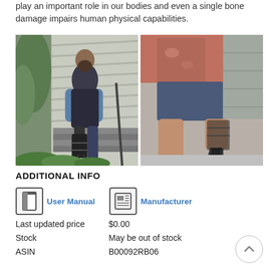play an important role in our bodies and even a single bone damage impairs human physical capabilities.
[Figure (photo): Two photos side by side: left shows a person wearing a leg brace/crutch walking down outdoor stairs next to a house; right shows close-up of a person's legs with a prosthetic leg device, wearing sandals.]
ADDITIONAL INFO
User Manual   Manufacturer
| Field | Value |
| --- | --- |
| Last updated price | $0.00 |
| Stock | May be out of stock |
| ASIN | B00092RB06 |